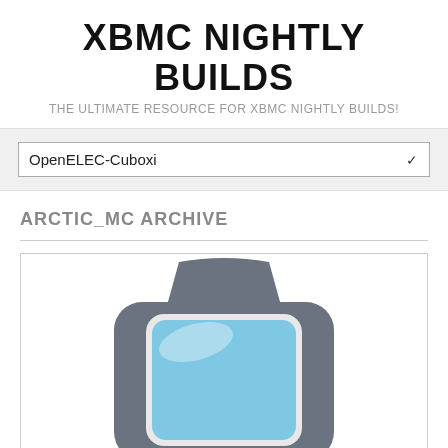XBMC NIGHTLY BUILDS
THE ULTIMATE RESOURCE FOR XBMC NIGHTLY BUILDS!
OpenELEC-Cuboxi
ARCTIC_MC ARCHIVE
[Figure (illustration): A stylized icon illustration of a media center device or remote, showing a rounded rectangular grey body with a light blue screen/panel in the center, viewed from the front. The design is flat/vector style in grey and blue tones.]